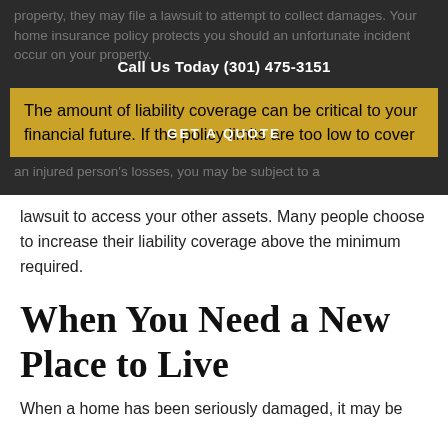property, they may file a lawsuit to attempt to collect damages. Your home insurance policy protects you should an unfortunate incident occur on your property.
Call Us Today (301) 475-3151
The amount of liability coverage can be critical to your financial future. If the policy limits are too low to cover an injured person's losses, you may be subject to a
GET A QUOTE
lawsuit to access your other assets. Many people choose to increase their liability coverage above the minimum required.
When You Need a New Place to Live
When a home has been seriously damaged, it may be